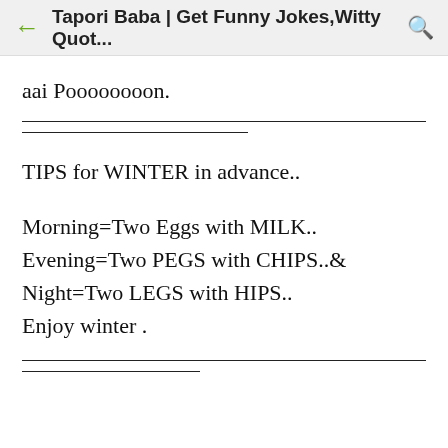Tapori Baba | Get Funny Jokes,Witty Quot...
aai Poooooooon.
TIPS for WINTER in advance..
Morning=Two Eggs with MILK..
Evening=Two PEGS with CHIPS..&
Night=Two LEGS with HIPS..
Enjoy winter .